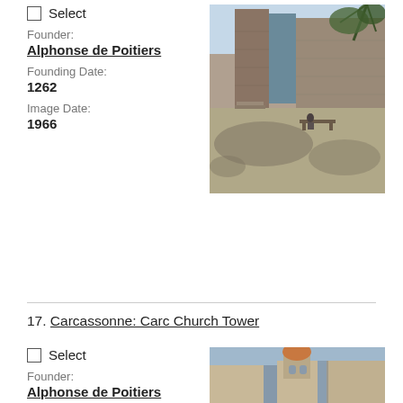Select
Founder: Alphonse de Poitiers
Founding Date: 1262
Image Date: 1966
[Figure (photo): Stone castle walls and towers in Carcassonne, with a courtyard and bench in the foreground, dappled sunlight]
17. Carcassonne: Carc Church Tower
Select
Founder: Alphonse de Poitiers
Founding Date:
[Figure (photo): Carcassonne church tower visible between buildings under blue sky]